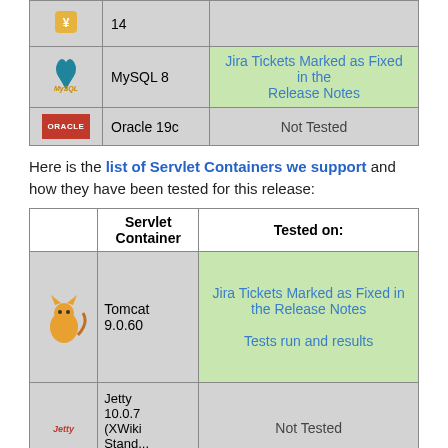|  |  |  |
| --- | --- | --- |
| [mysql logo] | MySQL 8 | Jira Tickets Marked as Fixed in the Release Notes |
| [oracle logo] | Oracle 19c | Not Tested |
Here is the list of Servlet Containers we support and how they have been tested for this release:
|  | Servlet Container | Tested on: |
| --- | --- | --- |
| [tomcat logo] | Tomcat 9.0.60 | Jira Tickets Marked as Fixed in the Release Notes
Tests run and results |
| [jetty logo] | Jetty 10.0.7 (XWiki Standard...) | Not Tested |